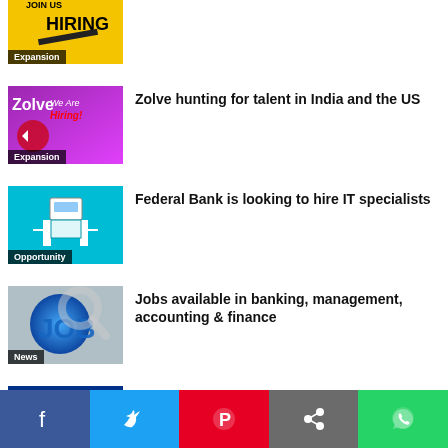[Figure (photo): Yellow background hiring banner with 'JOIN US' and 'HIRING' text, with an 'Expansion' tag label]
Zolve hunting for talent in India and the US
[Figure (photo): Zolve 'We Are Hiring' promotional image with megaphone, purple/pink background, 'Expansion' tag label]
Federal Bank is looking to hire IT specialists
[Figure (photo): Teal background with ATM machine graphic, 'Opportunity' tag label]
Jobs available in banking, management, accounting & finance
[Figure (photo): Magnifying glass over 'JOB' text on blue globe, 'News' tag label]
Credit Suisse India rolls out Real Returns programme
[Figure (photo): Credit Suisse logo with 'Learning &' partial text, blue and white brand colors]